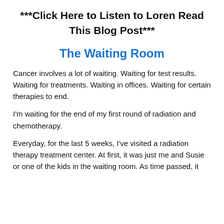***Click Here to Listen to Loren Read This Blog Post***
The Waiting Room
Cancer involves a lot of waiting. Waiting for test results. Waiting for treatments. Waiting in offices. Waiting for certain therapies to end.
I'm waiting for the end of my first round of radiation and chemotherapy.
Everyday, for the last 5 weeks, I've visited a radiation therapy treatment center. At first, it was just me and Susie or one of the kids in the waiting room. As time passed, it